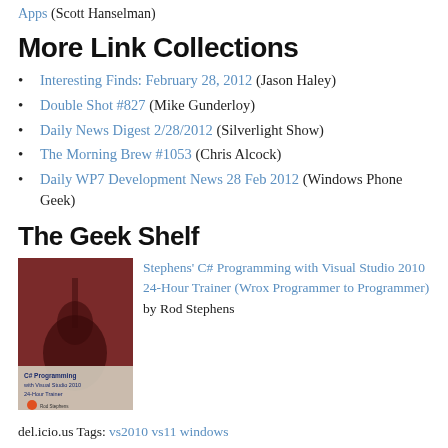Apps (Scott Hanselman)
More Link Collections
Interesting Finds: February 28, 2012 (Jason Haley)
Double Shot #827 (Mike Gunderloy)
Daily News Digest 2/28/2012 (Silverlight Show)
The Morning Brew #1053 (Chris Alcock)
Daily WP7 Development News 28 Feb 2012 (Windows Phone Geek)
The Geek Shelf
[Figure (photo): Book cover: Stephens' C# Programming with Visual Studio 2010 24-Hour Trainer (Wrox Programmer to Programmer) by Rod Stephens]
Stephens' C# Programming with Visual Studio 2010 24-Hour Trainer (Wrox Programmer to Programmer) by Rod Stephens
del.icio.us Tags: vs2010 vs11 windows